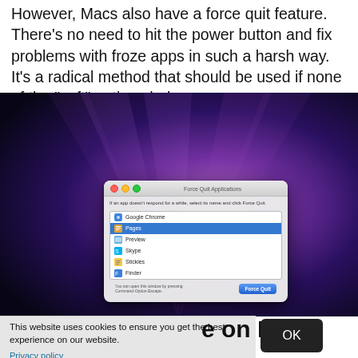However, Macs also have a force quit feature. There's no need to hit the power button and fix problems with froze apps in such a harsh way. It's a radical method that should be used if none of the "soft" options help.
[Figure (screenshot): macOS desktop screenshot showing the Force Quit Applications dialog with apps listed: Google Chrome, Pages (selected/highlighted in blue), Preview, Skype, Stickies, Finder. The dialog has a Force Quit button. Background is macOS purple/pink/dark gradient. Watermark 'UGETFIX' visible in bottom-right corner.]
[Figure (screenshot): Cookie consent overlay banner with text 'This website uses cookies to ensure you get the best experience on our website.' and a Privacy policy link, plus an OK button. Partially overlapping with a section header reading '...e on Mac'.]